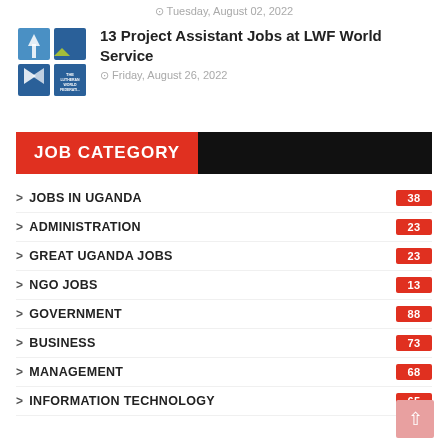Tuesday, August 02, 2022
13 Project Assistant Jobs at LWF World Service
Friday, August 26, 2022
JOB CATEGORY
JOBS IN UGANDA 38
ADMINISTRATION 23
GREAT UGANDA JOBS 23
NGO JOBS 13
GOVERNMENT 88
BUSINESS 73
MANAGEMENT 68
INFORMATION TECHNOLOGY 65